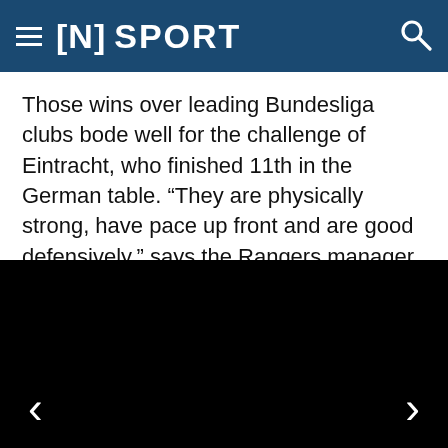[N] SPORT
Those wins over leading Bundesliga clubs bode well for the challenge of Eintracht, who finished 11th in the German table. “They are physically strong, have pace up front and are good defensively,” says the Rangers manager. “We have to respect their quality. But we have the character and belief for this final.”
[Figure (photo): Black image block with left and right navigation arrows at the bottom]